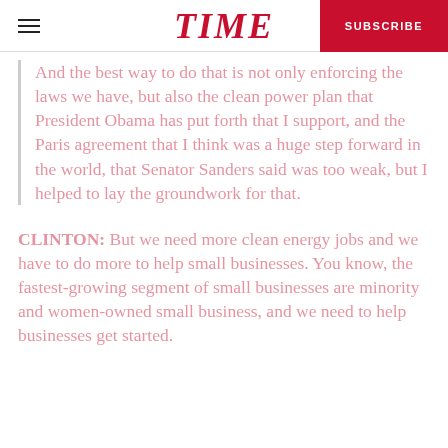TIME — SUBSCRIBE
And the best way to do that is not only enforcing the laws we have, but also the clean power plan that President Obama has put forth that I support, and the Paris agreement that I think was a huge step forward in the world, that Senator Sanders said was too weak, but I helped to lay the groundwork for that.
CLINTON: But we need more clean energy jobs and we have to do more to help small businesses. You know, the fastest-growing segment of small businesses are minority and women-owned small business, and we need to help businesses get started.